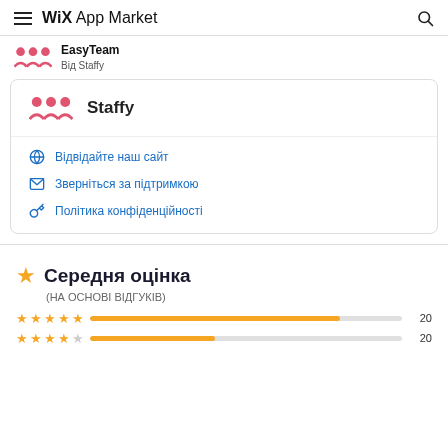WiX App Market
EasyTeam
Від Staffy
Staffy
Відвідайте наш сайт
Зверніться за підтримкою
Політика конфіденційності
Середня оцінка
(НА ОСНОВІ ВІДГУКІВ)
| Stars | Bar | Count |
| --- | --- | --- |
| ★★★★★ |  | 20 |
| ★★★★☆ |  | 20 |